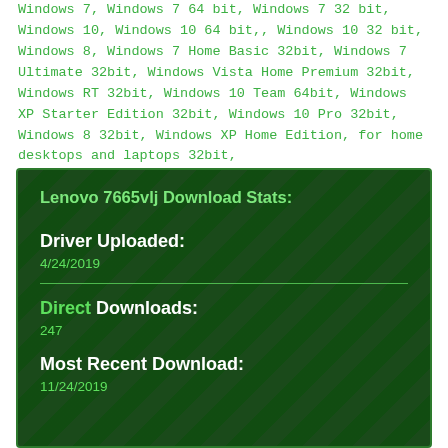Windows 7, Windows 7 64 bit, Windows 7 32 bit, Windows 10, Windows 10 64 bit,, Windows 10 32 bit, Windows 8, Windows 7 Home Basic 32bit, Windows 7 Ultimate 32bit, Windows Vista Home Premium 32bit, Windows RT 32bit, Windows 10 Team 64bit, Windows XP Starter Edition 32bit, Windows 10 Pro 32bit, Windows 8 32bit, Windows XP Home Edition, for home desktops and laptops 32bit,
Lenovo 7665vlj Download Stats:
Driver Uploaded: 4/24/2019
Direct Downloads: 247
Most Recent Download: 11/24/2019